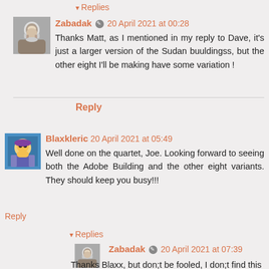Replies
Zabadak  20 April 2021 at 00:28
Thanks Matt, as I mentioned in my reply to Dave, it's just a larger version of the Sudan buuldingss, but the other eight I'll be making have some variation !
Reply
Blaxkleric 20 April 2021 at 05:49
Well done on the quartet, Joe. Looking forward to seeing both the Adobe Building and the other eight variants. They should keep you busy!!!
Reply
Replies
Zabadak  20 April 2021 at 07:39
Thanks Blaxx, but don;t be fooled, I don;t find this